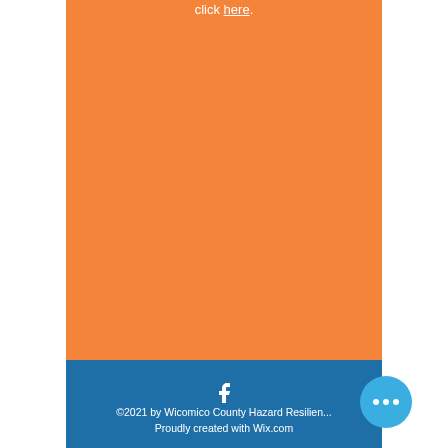click here.
[Figure (illustration): Large orange background block filling the main content area]
©2021 by Wicomico County Hazard Resilien... Proudly created with Wix.com